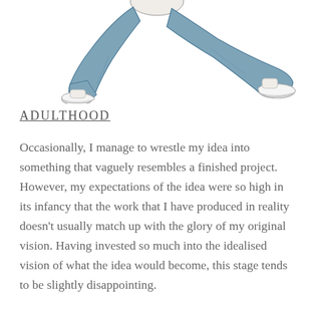[Figure (illustration): Partial illustration of a person sitting on the ground, shown from the waist down, wearing blue jeans and white shoes/sneakers, with knees drawn up.]
ADULTHOOD
Occasionally, I manage to wrestle my idea into something that vaguely resembles a finished project. However, my expectations of the idea were so high in its infancy that the work that I have produced in reality doesn't usually match up with the glory of my original vision. Having invested so much into the idealised vision of what the idea would become, this stage tends to be slightly disappointing.